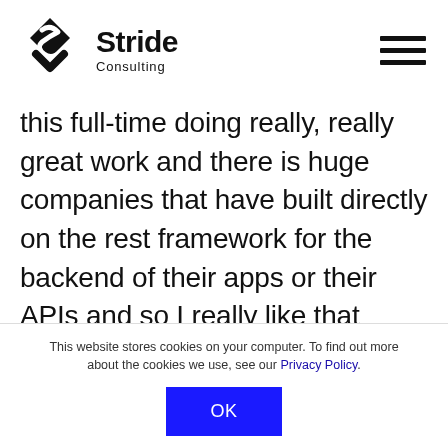[Figure (logo): Stride Consulting logo with geometric diamond/arrow icon and company name]
this full-time doing really, really great work and there is huge companies that have built directly on the rest framework for the backend of their apps or their APIs and so I really like that concept around really selling the engineering value much
This website stores cookies on your computer. To find out more about the cookies we use, see our Privacy Policy.